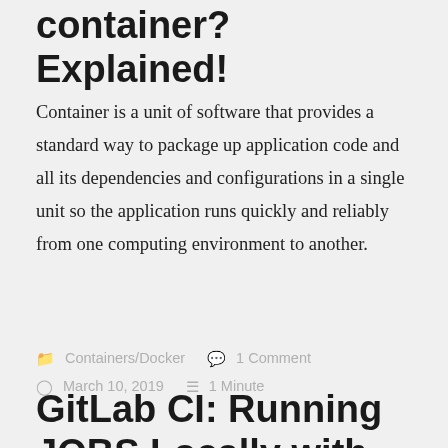container? Explained!
Container is a unit of software that provides a standard way to package up application code and all its dependencies and configurations in a single unit so the application runs quickly and reliably from one computing environment to another.
Containers/Docker   1 Comment
March 10, 2019   1 Minute
GitLab CI: Running JOBS Locally with GitLab Runner using